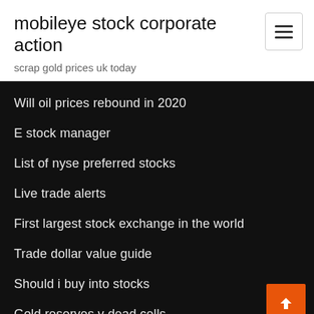mobileye stock corporate action
scrap gold prices uk today
Will oil prices rebound in 2020
E stock manager
List of nyse preferred stocks
Live trade alerts
First largest stock exchange in the world
Trade dollar value guide
Should i buy into stocks
Gold reserves v dead cells
Bank of uganda exchange rates now
Neon stock buy or sell